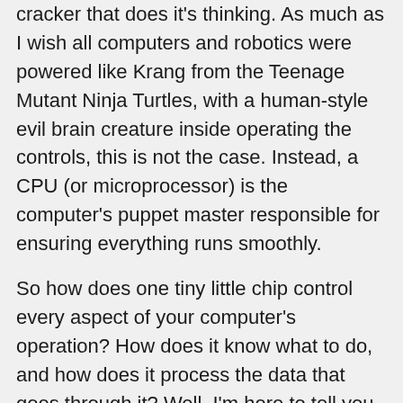cracker that does it's thinking. As much as I wish all computers and robotics were powered like Krang from the Teenage Mutant Ninja Turtles, with a human-style evil brain creature inside operating the controls, this is not the case. Instead, a CPU (or microprocessor) is the computer's puppet master responsible for ensuring everything runs smoothly.
So how does one tiny little chip control every aspect of your computer's operation? How does it know what to do, and how does it process the data that goes through it? Well, I'm here to tell you, as simply stated as possible.
Slap on your highway boots, Daddy Bojangles, it's time for some high-tech information made easy.
CPU stands for central processing unit. The name is pretty telling and lets you know that this piece of equipment serves the most crucial role in your computer's operation. Every component in your computer is connected to the motherboard, but the motherboard wouldn't know how to communicate with all the pieces without the